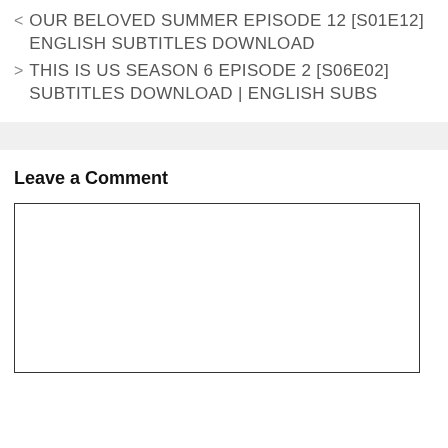< OUR BELOVED SUMMER EPISODE 12 [S01E12] ENGLISH SUBTITLES DOWNLOAD
> THIS IS US SEASON 6 EPISODE 2 [S06E02] SUBTITLES DOWNLOAD | ENGLISH SUBS
Leave a Comment